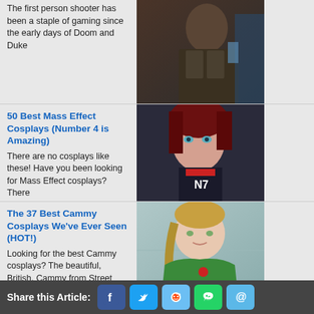The first person shooter has been a staple of gaming since the early days of Doom and Duke
[Figure (photo): Cosplayer in dark armored costume]
50 Best Mass Effect Cosplays (Number 4 is Amazing)
There are no cosplays like these! Have you been looking for Mass Effect cosplays? There
[Figure (photo): Female cosplayer in N7 Mass Effect armor with red hair]
The 37 Best Cammy Cosplays We've Ever Seen (HOT!)
Looking for the best Cammy cosplays?  The beautiful, British, Cammy from Street Fighter is
[Figure (photo): Female cosplayer in green Cammy Street Fighter outfit]
The 37 Hottest Mercy Cosplays Ever
Angela Ziegler – Or Mercy, was born in Switzerland. She lost her parents when she was a little child, and as a
[Figure (photo): Mercy Overwatch cosplay with wings and golden armor]
Share this Article: